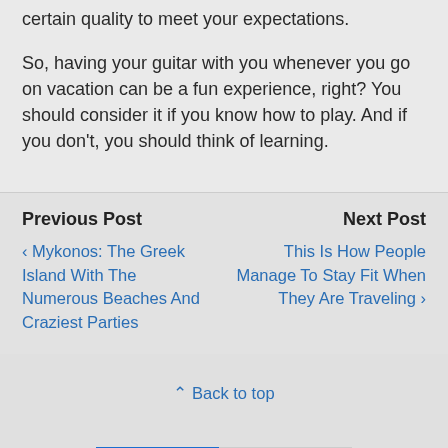certain quality to meet your expectations.
So, having your guitar with you whenever you go on vacation can be a fun experience, right? You should consider it if you know how to play. And if you don't, you should think of learning.
Previous Post
‹ Mykonos: The Greek Island With The Numerous Beaches And Craziest Parties
Next Post
This Is How People Manage To Stay Fit When They Are Traveling ›
⋀ Back to top